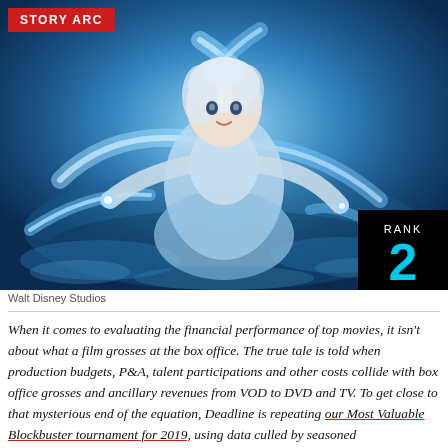STORY ARC
[Figure (photo): Animated character Elsa from Frozen 2 (Walt Disney Studios) lying on ground with blue magical light effects surrounding her, viewed from above. A black box in bottom-right corner shows RANK 2 in cyan text.]
Walt Disney Studios
When it comes to evaluating the financial performance of top movies, it isn't about what a film grosses at the box office. The true tale is told when production budgets, P&A, talent participations and other costs collide with box office grosses and ancillary revenues from VOD to DVD and TV. To get close to that mysterious end of the equation, Deadline is repeating our Most Valuable Blockbuster tournament for 2019, using data culled by seasoned